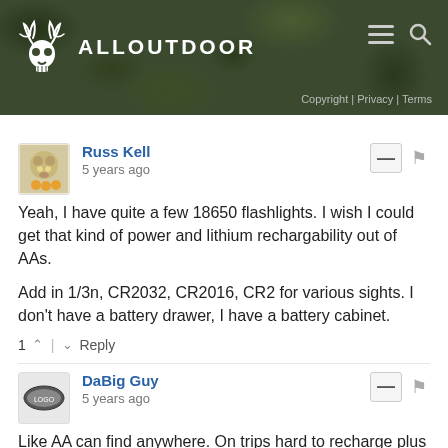[Figure (screenshot): AllOutdoor website header with camouflage background, deer skull logo, site name ALLOUTDOOR, hamburger menu and search icons, and copyright/privacy/terms links]
Russ Kell
5 years ago
Yeah, I have quite a few 18650 flashlights. I wish I could get that kind of power and lithium rechargability out of AAs.

Add in 1/3n, CR2032, CR2016, CR2 for various sights. I don't have a battery drawer, I have a battery cabinet.
1 ^ | v Reply
DaBig Guy
5 years ago
Like AA can find anywhere. On trips hard to recharge plus having to carry recharger around.

After giving up my old Pentax SLR went with Nikon AA point and shoot the COOLPIX L32. I was tired of carrying around camera bag and three lens plus.